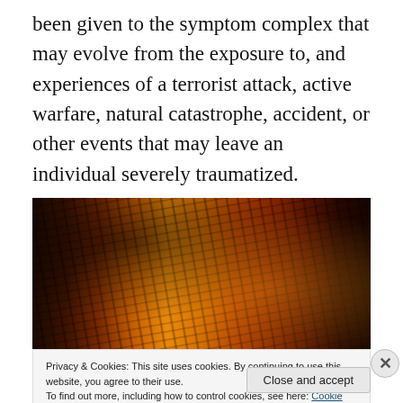been given to the symptom complex that may evolve from the exposure to, and experiences of a terrorist attack, active warfare, natural catastrophe, accident, or other events that may leave an individual severely traumatized.
[Figure (photo): Dark, dramatic photograph of bare tree branches lit by intense orange and yellow fire or sunset light against a very dark background, creating a stark and ominous atmosphere.]
Privacy & Cookies: This site uses cookies. By continuing to use this website, you agree to their use.
To find out more, including how to control cookies, see here: Cookie Policy
Close and accept